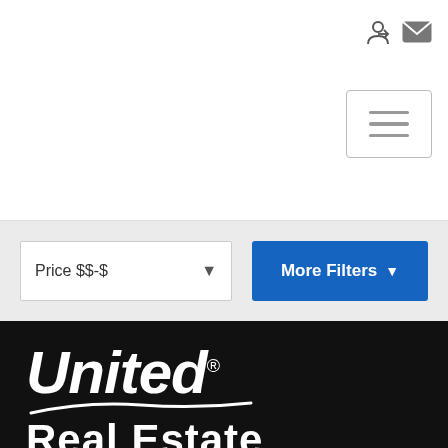[Figure (screenshot): Top navigation bar with login and mail icons on the right]
[Figure (screenshot): Hamburger menu button with three horizontal bars]
[Figure (screenshot): Filter bar with Price $$-$ dropdown and More Filters button]
[Figure (logo): United Real Estate logo in white on black background]
[Figure (screenshot): Blue chat button with speech bubble icon]